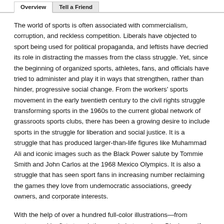Overview | Tell a Friend
The world of sports is often associated with commercialism, corruption, and reckless competition. Liberals have objected to sport being used for political propaganda, and leftists have decried its role in distracting the masses from the class struggle. Yet, since the beginning of organized sports, athletes, fans, and officials have tried to administer and play it in ways that strengthen, rather than hinder, progressive social change. From the workers' sports movement in the early twentieth century to the civil rights struggle transforming sports in the 1960s to the current global network of grassroots sports clubs, there has been a growing desire to include sports in the struggle for liberation and social justice. It is a struggle that has produced larger-than-life figures like Muhammad Ali and iconic images such as the Black Power salute by Tommie Smith and John Carlos at the 1968 Mexico Olympics. It is also a struggle that has seen sport fans in increasing number reclaiming the games they love from undemocratic associations, greedy owners, and corporate interests.
With the help of over a hundred full-color illustrations—from posters and leaflets to paintings and photographs—Playing as if the World